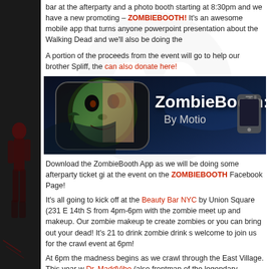bar at the afterparty and a photo booth starting at 8:30pm and we have a new promoting – ZOMBIEBOOTH! It's an awesome mobile app that turns anyone powerpoint presentation about the Walking Dead and we'll also be doing the
A portion of the proceeds from the event will go to help our brother Spliff, the can also donate here!
[Figure (illustration): ZombieBooth 3D app promotional banner showing a zombie face app icon on the left half and bold white text 'ZombieBooth: 3D' with 'By Motio' subtitle on a dark blue atmospheric background, with a phone device icon on the right edge.]
Download the ZombieBooth App as we will be doing some afterparty ticket gi at the event on the ZOMBIEBOOTH Facebook Page!
It's all going to kick off at the Beauty Bar NYC by Union Square (231 E 14th S from 4pm-6pm with the zombie meet up and makeup. Our zombie makeup te create zombies or you can bring out your dead! It's 21 to drink zombie drink s welcome to join us for the crawl event at 6pm!
At 6pm the madness begins as we crawl through the East Village. This year w Dr. MaddVibe (also frontman of the legendary Fishbone) as a part of the ever new Dr. MaddVibe music video and Dr. MaddVibe will also be performing at t